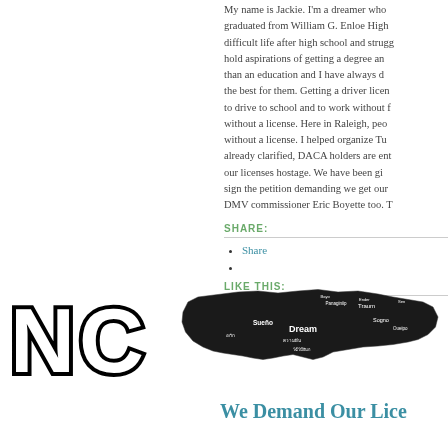My name is Jackie. I'm a dreamer who graduated from William G. Enloe High difficult life after high school and struggled hold aspirations of getting a degree and than an education and I have always d the best for them. Getting a driver licen to drive to school and to work without f without a license. Here in Raleigh, peo without a license. I helped organize Tu already clarified, DACA holders are ent our licenses hostage. We have been gi sign the petition demanding we get our DMV commissioner Eric Boyette too. T
SHARE:
Share
LIKE THIS:
Like Loading...
[Figure (infographic): NC letters in block outline font on the left. Black silhouette map of North Carolina with words in various languages (Dream, Sueño, Traum, etc.) overlaid. Below the map: 'We Demand Our Lice...' in teal serif font.]